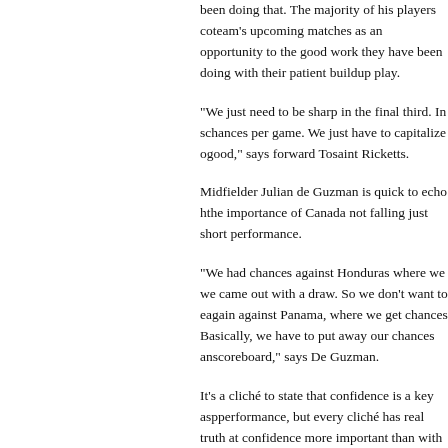been doing that. The majority of his players co... team's upcoming matches as an opportunity to... the good work they have been doing with their patient buildup play.
“We just need to be sharp in the final third. In s... chances per game. We just have to capitalize o... good,” says forward Tosaint Ricketts.
Midfielder Julian de Guzman is quick to echo h... the importance of Canada not falling just short ... performance.
“We had chances against Honduras where we... we came out with a draw. So we don’t want to e... again against Panama, where we get chances... Basically, we have to put away our chances an... scoreboard,” says De Guzman.
It’s a cliché to state that confidence is a key asp... performance, but every cliché has real truth at... confidence more important than with attacking... striker Simeon Jackson was recently able to po... League goal of the new campaign just ahead o... fold now has the forward in a confident and pos...